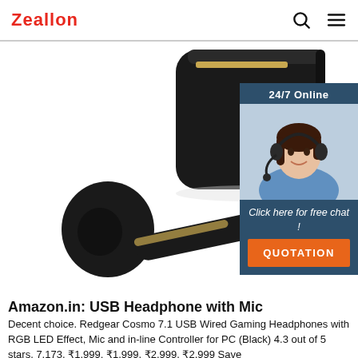Zeallon
[Figure (photo): Black TWS wireless earbud and its charging case, with a gold accent. The charging case has a green LED indicator. One earbud is shown separately below the case. Overlaid in the top-right corner is a customer service chat widget showing '24/7 Online', a woman wearing a headset, 'Click here for free chat!', and an orange 'QUOTATION' button.]
Amazon.in: USB Headphone with Mic
Decent choice. Redgear Cosmo 7.1 USB Wired Gaming Headphones with RGB LED Effect, Mic and in-line Controller for PC (Black) 4.3 out of 5 stars. 7,173. ₹1,999. ₹1,999. ₹2,999. ₹2,999 Save